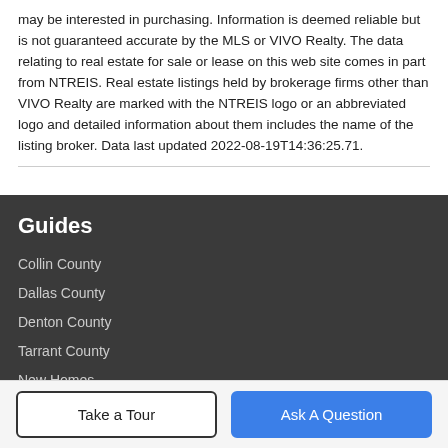may be interested in purchasing. Information is deemed reliable but is not guaranteed accurate by the MLS or VIVO Realty. The data relating to real estate for sale or lease on this web site comes in part from NTREIS. Real estate listings held by brokerage firms other than VIVO Realty are marked with the NTREIS logo or an abbreviated logo and detailed information about them includes the name of the listing broker. Data last updated 2022-08-19T14:36:25.71.
Guides
Collin County
Dallas County
Denton County
Tarrant County
New Homes
More Guides ›